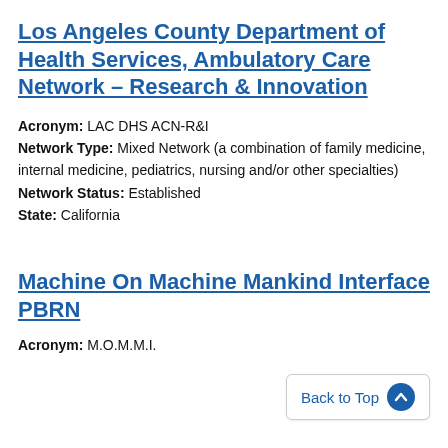Los Angeles County Department of Health Services, Ambulatory Care Network – Research & Innovation
Acronym: LAC DHS ACN-R&I
Network Type: Mixed Network (a combination of family medicine, internal medicine, pediatrics, nursing and/or other specialties)
Network Status: Established
State: California
Machine On Machine Mankind Interface PBRN
Acronym: M.O.M.M.I.